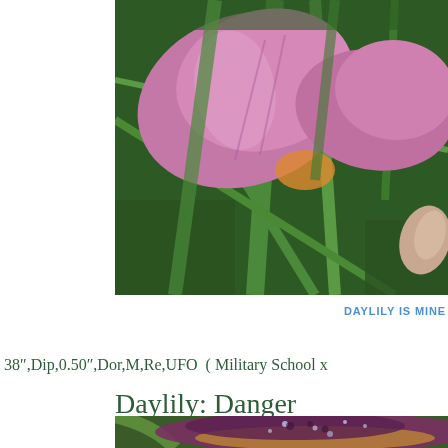[Figure (photo): Close-up photo of a pink/purple daylily flower with green foliage background, partially cropped from left]
DAYLILY IS MINE
38″,Dip,0.50″,Dor,M,Re,UFO  ( Military School x
Daylily: Danger
[Figure (photo): Close-up photo of a dark purple and yellow daylily flower with water droplets, partially visible at bottom of page]